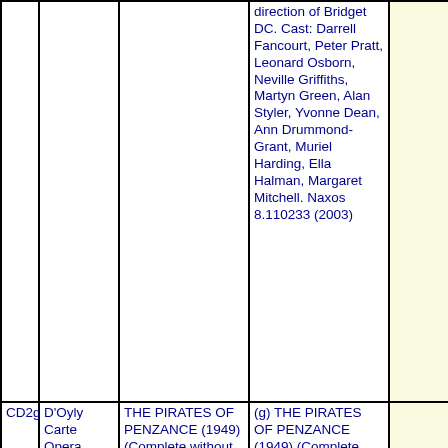|  |  |  |  |  |
| --- | --- | --- | --- | --- |
|  |  |  | direction of Bridget DC. Cast: Darrell Fancourt, Peter Pratt, Leonard Osborn, Neville Griffiths, Martyn Green, Alan Styler, Yvonne Dean, Ann Drummond-Grant, Muriel Harding, Ella Halman, Margaret Mitchell. Naxos 8.110233 (2003) |  |
| CD2g | D'Oyly Carte Opera Company | THE PIRATES OF PENZANCE (1949) (Complete without dialogue) | (g) THE PIRATES OF PENZANCE (1949) (Complete without dialogue) Cast : Martyn |  |